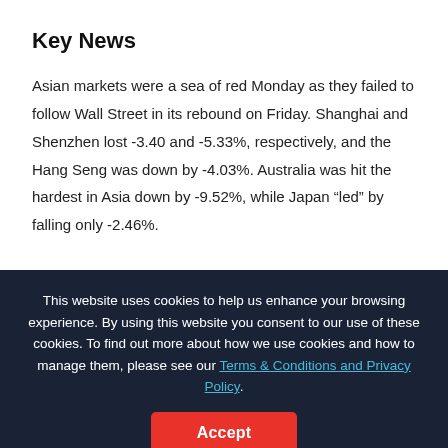Key News
Asian markets were a sea of red Monday as they failed to follow Wall Street in its rebound on Friday. Shanghai and Shenzhen lost -3.40 and -5.33%, respectively, and the Hang Seng was down by -4.03%. Australia was hit the hardest in Asia down by -9.52%, while Japan “led” by falling only -2.46%.
This website uses cookies to help us enhance your browsing experience. By using this website you consent to our use of these cookies. To find out more about how we use cookies and how to manage them, please see our Terms & Conditions and Privacy Policy.
Accept